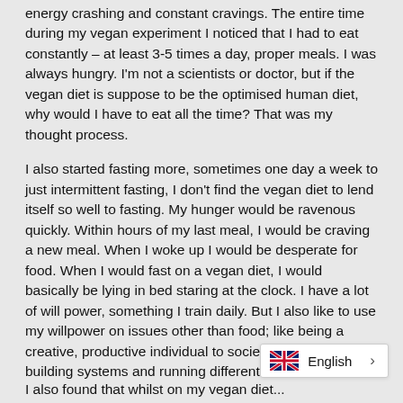energy crashing and constant cravings. The entire time during my vegan experiment I noticed that I had to eat constantly – at least 3-5 times a day, proper meals. I was always hungry. I'm not a scientists or doctor, but if the vegan diet is suppose to be the optimised human diet, why would I have to eat all the time? That was my thought process.
I also started fasting more, sometimes one day a week to just intermittent fasting, I don't find the vegan diet to lend itself so well to fasting. My hunger would be ravenous quickly. Within hours of my last meal, I would be craving a new meal. When I woke up I would be desperate for food. When I would fast on a vegan diet, I would basically be lying in bed staring at the clock. I have a lot of will power, something I train daily. But I also like to use my willpower on issues other than food; like being a creative, productive individual to society. Reaching goals, building systems and running different businesses
I also found that whilst on my vegan diet...
[Figure (other): Language selector widget showing UK flag and 'English' label with a right arrow]